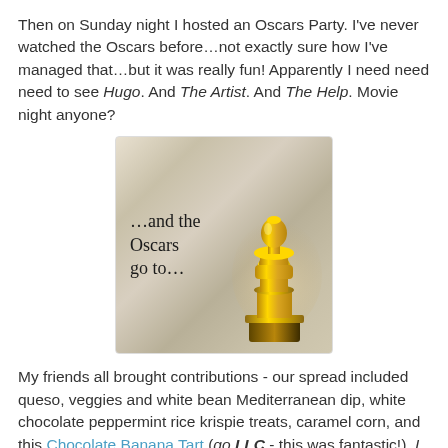Then on Sunday night I hosted an Oscars Party. I've never watched the Oscars before…not exactly sure how I've managed that…but it was really fun! Apparently I need need need to see Hugo. And The Artist. And The Help. Movie night anyone?
[Figure (illustration): Image of the Oscar statuette (gold figure on pedestal) with text '...and the Oscars go to...' on a soft blurred colorful background, with a white border.]
My friends all brought contributions - our spread included queso, veggies and white bean Mediterranean dip, white chocolate peppermint rice krispie treats, caramel corn, and this Chocolate Banana Tart (go LLC - this was fantastic!). I